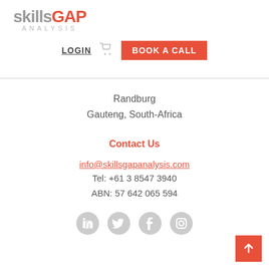[Figure (logo): skillsGAP ANALYSIS logo with 'skills' in grey, 'GAP' in orange/red, and 'ANALYSIS' in light grey below]
LOGIN
BOOK A CALL
Randburg
Gauteng, South-Africa
Contact Us
info@skillsgapanalysis.com
Tel: +61 3 8547 3940
ABN: 57 642 065 594
[Figure (illustration): Social media icons: LinkedIn, Twitter, Facebook, Instagram — all in light grey]